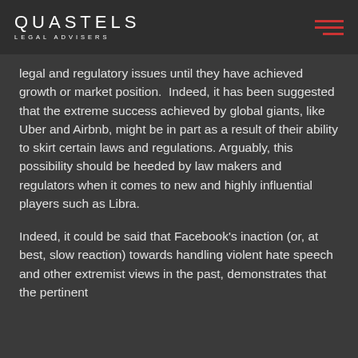QUASTELS LEGAL ADVISERS
legal and regulatory issues until they have achieved growth or market position.  Indeed, it has been suggested that the extreme success achieved by global giants, like Uber and Airbnb, might be in part as a result of their ability to skirt certain laws and regulations. Arguably, this possibility should be heeded by law makers and regulators when it comes to new and highly influential players such as Libra.
Indeed, it could be said that Facebook's inaction (or, at best, slow reaction) towards handling violent hate speech and other extremist views in the past, demonstrates that the pertinent